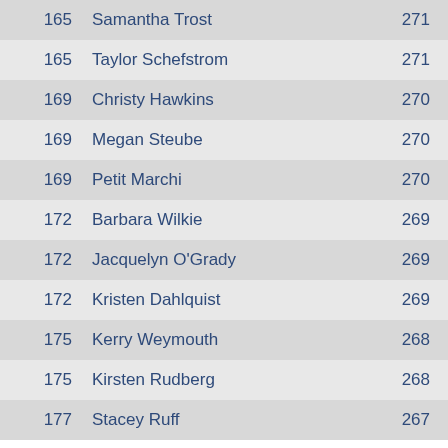| Rank | Name | Score |
| --- | --- | --- |
| 165 | Samantha Trost | 271 |
| 165 | Taylor Schefstrom | 271 |
| 169 | Christy Hawkins | 270 |
| 169 | Megan Steube | 270 |
| 169 | Petit Marchi | 270 |
| 172 | Barbara Wilkie | 269 |
| 172 | Jacquelyn O'Grady | 269 |
| 172 | Kristen Dahlquist | 269 |
| 175 | Kerry Weymouth | 268 |
| 175 | Kirsten Rudberg | 268 |
| 177 | Stacey Ruff | 267 |